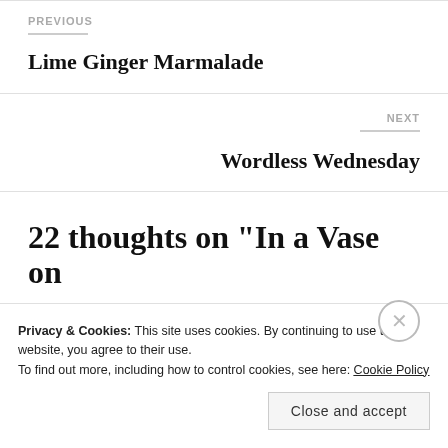PREVIOUS
Lime Ginger Marmalade
NEXT
Wordless Wednesday
22 thoughts on “In a Vase on
Privacy & Cookies: This site uses cookies. By continuing to use this website, you agree to their use.
To find out more, including how to control cookies, see here: Cookie Policy
Close and accept